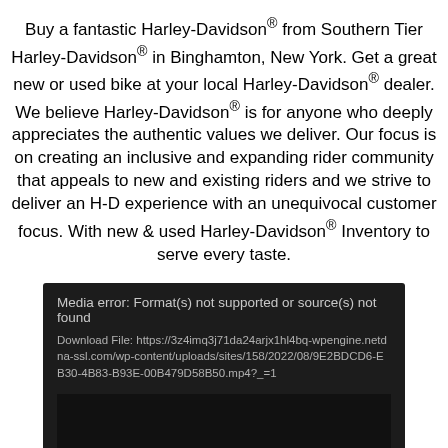Buy a fantastic Harley-Davidson® from Southern Tier Harley-Davidson® in Binghamton, New York. Get a great new or used bike at your local Harley-Davidson® dealer. We believe Harley-Davidson® is for anyone who deeply appreciates the authentic values we deliver. Our focus is on creating an inclusive and expanding rider community that appeals to new and existing riders and we strive to deliver an H-D experience with an unequivocal customer focus. With new & used Harley-Davidson® Inventory to serve every taste.
[Figure (screenshot): Media player error screen with dark background showing: 'Media error: Format(s) not supported or source(s) not found' and a download file URL: https://3z4imq3j71da24arjx1hl4bq-wpengine.netdna-ssl.com/wp-content/uploads/sites/158/2022/08/9E2BDCD6-EB30-4B83-B93E-00B479D58B50.mp4?_=1]